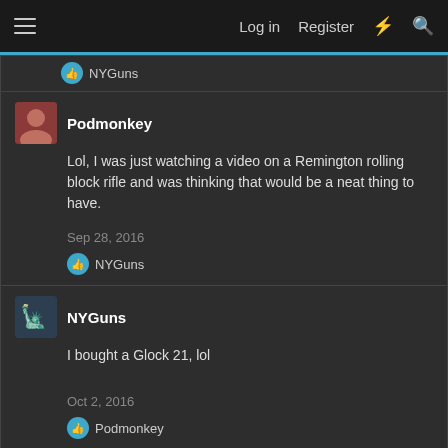Log in  Register
NYGuns
Podmonkey
Lol, I was just watching a video on a Remington rolling block rifle and was thinking that would be a neat thing to have.
Sep 28, 2016
NYGuns
NYGuns
I bought a Glock 21, lol
Oct 2, 2016
Podmonkey
eagleridge357 · Sep 17, 2016
I am an FFL. Would like to sell in classifieds. Advise me as to